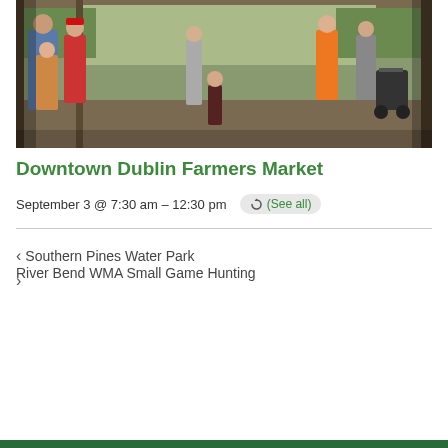[Figure (photo): Outdoor farmers market scene under a pavilion with people browsing, a child standing in the foreground, and a stroller on the right.]
Downtown Dublin Farmers Market
September 3 @ 7:30 am - 12:30 pm  (See all)
< Southern Pines Water Park   River Bend WMA Small Game Hunting >